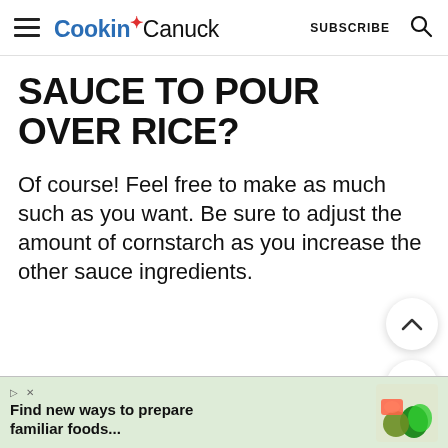Cookin Canuck  SUBSCRIBE
SAUCE TO POUR OVER RICE?
Of course! Feel free to make as much such as you want. Be sure to adjust the amount of cornstarch as you increase the other sauce ingredients.
[Figure (photo): Photo of food (orange/brown saucy dish) in a blue pan/skillet, partially visible at bottom of page]
Find new ways to prepare familiar foods...